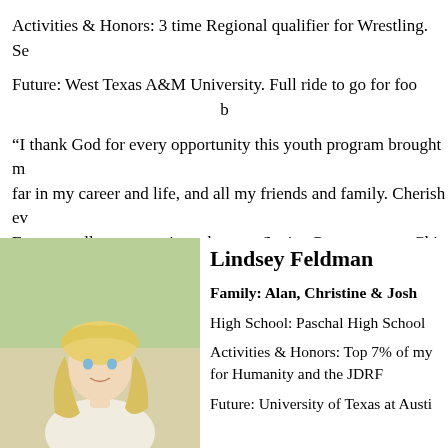Activities & Honors: 3 time Regional qualifier for Wrestling. Se
Future: West Texas A&M University. Full ride to go for foo b
“I thank God for every opportunity this youth program brought m far in my career and life, and all my friends and family. Cherish ev Every small group session when my Senior Group went to Chic completely drop and destroy my cup. In public I was
[Figure (photo): Portrait photo of Lindsey Feldman, a young blonde woman smiling outdoors with a green background]
Lindsey Feldman
Family: Alan, Christine & Josh
High School: Paschal High School
Activities & Honors: Top 7% of my for Humanity and the JDRF
Future: University of Texas at Austi